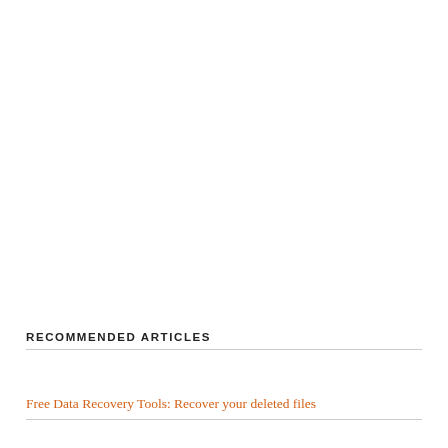RECOMMENDED ARTICLES
Free Data Recovery Tools: Recover your deleted files